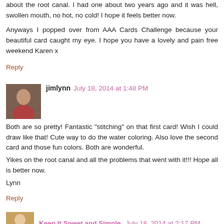about the root canal. I had one about two years ago and it was hell, swollen mouth, no hot, no cold! I hope it feels better now.
Anyways I popped over from AAA Cards Challenge because your beautiful card caught my eye. I hope you have a lovely and pain free weekend Karen x
Reply
jimlynn  July 18, 2014 at 1:48 PM
Both are so pretty! Fantastic "stitching" on that first card! Wish I could draw like that! Cute way to do the water coloring. Also love the second card and those fun colors. Both are wonderful.
Yikes on the root canal and all the problems that went with it!!! Hope all is better now.
Lynn
Reply
Keep It Sweet and Simple  July 18, 2014 at 2:17 PM